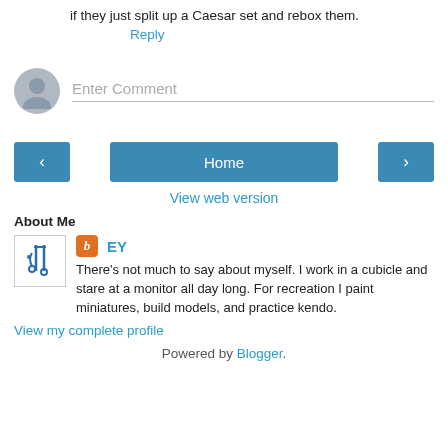if they just split up a Caesar set and rebox them.
Reply
Enter Comment
Home
View web version
About Me
EY
There's not much to say about myself. I work in a cubicle and stare at a monitor all day long. For recreation I paint miniatures, build models, and practice kendo.
View my complete profile
Powered by Blogger.